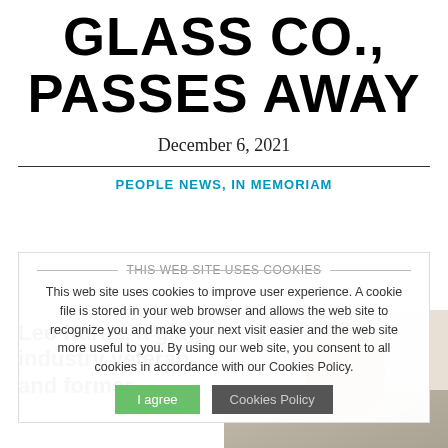GLASS CO., PASSES AWAY
December 6, 2021
PEOPLE NEWS, IN MEMORIAM
THIS WEB SITE USES COOKIES
This web site uses cookies to improve user experience. A cookie file is stored in your web browser and allows the web site to recognize you and make your next visit easier and the web site more useful to you. By using our web site, you consent to all cookies in accordance with our Cookies Policy.
Leo Karas, a glass industry veteran and former
[Figure (photo): Photo of a man, partially visible, with beige/tan background]